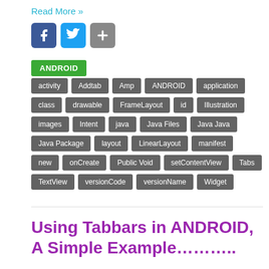Read More »
[Figure (illustration): Social media sharing icons: Facebook (blue), Twitter (light blue), and a plus/share button (gray)]
ANDROID
activity
Addtab
Amp
ANDROID
application
class
drawable
FrameLayout
id
Illustration
images
Intent
java
Java Files
Java Java
Java Package
layout
LinearLayout
manifest
new
onCreate
Public Void
setContentView
Tabs
TextView
versionCode
versionName
Widget
Using Tabbars in ANDROID, A Simple Example………..